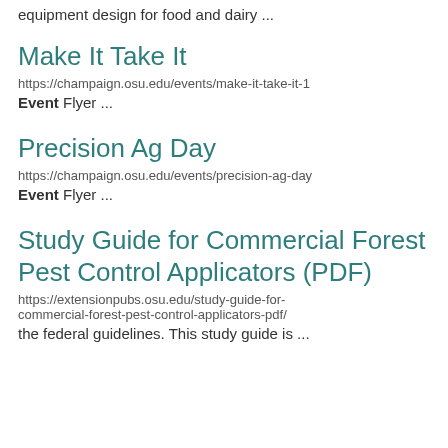equipment design for food and dairy ...
Make It Take It
https://champaign.osu.edu/events/make-it-take-it-1
Event Flyer ...
Precision Ag Day
https://champaign.osu.edu/events/precision-ag-day
Event Flyer ...
Study Guide for Commercial Forest Pest Control Applicators (PDF)
https://extensionpubs.osu.edu/study-guide-for-commercial-forest-pest-control-applicators-pdf/
the federal guidelines. This study guide is ...